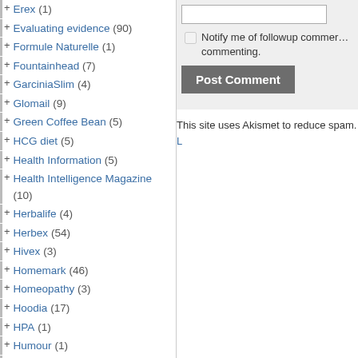+ Erex (1)
+ Evaluating evidence (90)
+ Formule Naturelle (1)
+ Fountainhead (7)
+ GarciniaSlim (4)
+ Glomail (9)
+ Green Coffee Bean (5)
+ HCG diet (5)
+ Health Information (5)
+ Health Intelligence Magazine (10)
+ Herbalife (4)
+ Herbex (54)
+ Hivex (3)
+ Homemark (46)
+ Homeopathy (3)
+ Hoodia (17)
+ HPA (1)
+ Humour (1)
+ Imuniti (2)
+ Imuniti Nutritional Supplement (2)
+ ImuPro (11)
+ Kangmei Slimming Capsules (5)
+ Kenza Health (5)
Notify me of followup comments via e-mail. You can also subscribe without commenting.
Post Comment
This site uses Akismet to reduce spam. L…